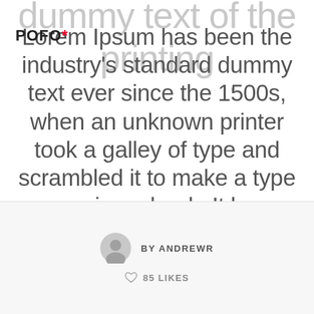POFO* dummy text of the printing and typesetting industry.
Lorem Ipsum has been the industry's standard dummy text ever since the 1500s, when an unknown printer took a galley of type and scrambled it to make a type specimen book. It has survived not only five centuries,...
BY ANDREWR
85 LIKES